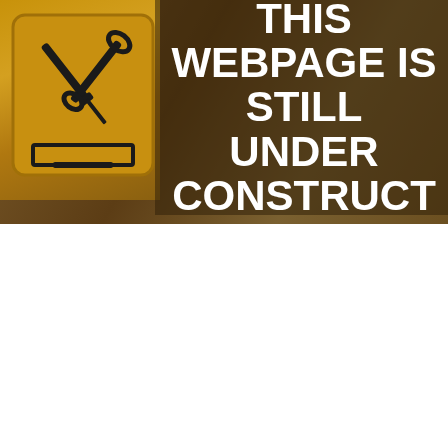[Figure (photo): Under construction webpage banner: yellow warning sign with tools (wrench, screwdriver, hammer) on a dark brown blurred background. White bold text reads 'VISITORS THIS WEBPAGE IS STILL UNDER CONSTRUCTION' overlaid on a semi-transparent dark overlay.]
VISITORS THIS WEBPAGE IS STILL UNDER CONSTRUCTION